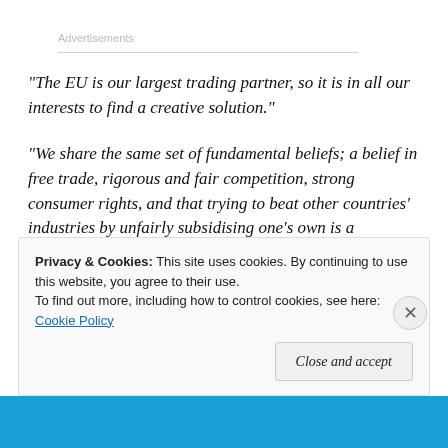Advertisements
“The EU is our largest trading partner, so it is in all our interests to find a creative solution.”
“We share the same set of fundamental beliefs; a belief in free trade, rigorous and fair competition, strong consumer rights, and that trying to beat other countries’ industries by unfairly subsidising one’s own is a
Privacy & Cookies: This site uses cookies. By continuing to use this website, you agree to their use.
To find out more, including how to control cookies, see here: Cookie Policy
Close and accept